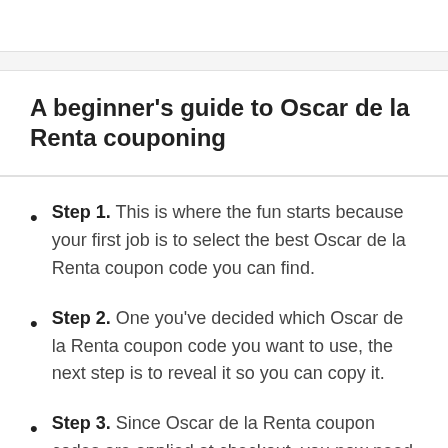A beginner's guide to Oscar de la Renta couponing
Step 1. This is where the fun starts because your first job is to select the best Oscar de la Renta coupon code you can find.
Step 2. One you've decided which Oscar de la Renta coupon code you want to use, the next step is to reveal it so you can copy it.
Step 3. Since Oscar de la Renta coupon codes are applied at checkout, you now need to select the products you want to buy and add them to your